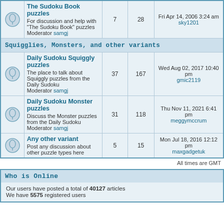|  | Forum | Topics | Posts | Last Post |
| --- | --- | --- | --- | --- |
| [icon] | The Sudoku Book puzzles
For discussion and help with "The Sudoku Book" puzzles
Moderator samgj | 7 | 28 | Fri Apr 14, 2006 3:24 am
sky1201 |
| SECTION | Squigglies, Monsters, and other variants |  |  |  |
| [icon] | Daily Sudoku Squiggly puzzles
The place to talk about Squiggly puzzles from the Daily Sudoku
Moderator samgj | 37 | 167 | Wed Aug 02, 2017 10:40 pm
gmic2119 |
| [icon] | Daily Sudoku Monster puzzles
Discuss the Monster puzzles from the Daily Sudoku
Moderator samgj | 31 | 118 | Thu Nov 11, 2021 6:41 pm
meggymccrum |
| [icon] | Any other variant
Post any discussion about other puzzle types here | 5 | 15 | Mon Jul 18, 2016 12:12 pm
maxgadgetuk |
All times are GMT
Who is Online
Our users have posted a total of 40127 articles
We have 5575 registered users